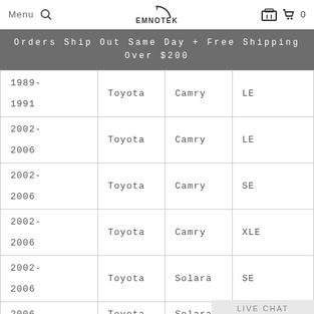Menu | [search icon] | EMNOTEK | [garage icon] | [cart icon] 0
Orders Ship Out Same Day + Free Shipping Over $200
| Year | Make | Model | Trim |
| --- | --- | --- | --- |
| 1989-1991 | Toyota | Camry | LE |
| 2002-2006 | Toyota | Camry | LE |
| 2002-2006 | Toyota | Camry | SE |
| 2002-2006 | Toyota | Camry | XLE |
| 2002-2006 | Toyota | Solara | SE |
| 2006 | Toyota | Solara | SE Sport |